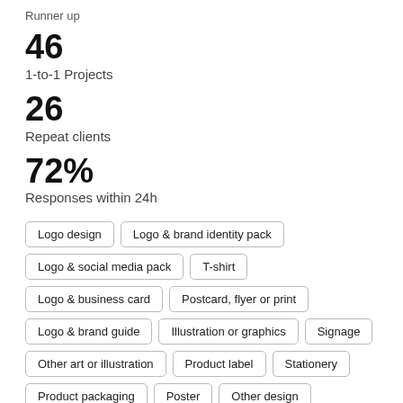Runner up
46
1-to-1 Projects
26
Repeat clients
72%
Responses within 24h
Logo design
Logo & brand identity pack
Logo & social media pack
T-shirt
Logo & business card
Postcard, flyer or print
Logo & brand guide
Illustration or graphics
Signage
Other art or illustration
Product label
Stationery
Product packaging
Poster
Other design